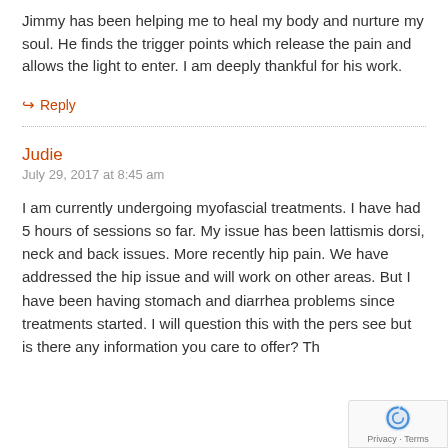Jimmy has been helping me to heal my body and nurture my soul. He finds the trigger points which release the pain and allows the light to enter. I am deeply thankful for his work.
↳ Reply
Judie
July 29, 2017 at 8:45 am
I am currently undergoing myofascial treatments. I have had 5 hours of sessions so far. My issue has been lattismis dorsi, neck and back issues. More recently hip pain. We have addressed the hip issue and will work on other areas. But I have been having stomach and diarrhea problems since treatments started. I will question this with the pers see but is there any information you care to offer? Th